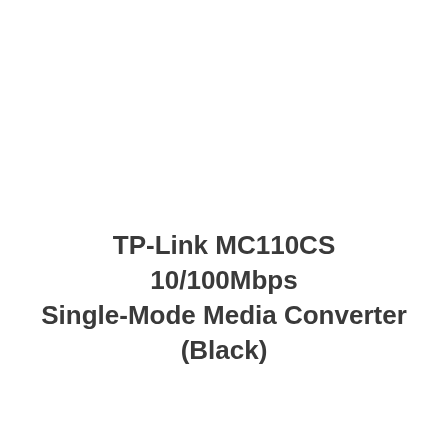TP-Link MC110CS 10/100Mbps Single-Mode Media Converter (Black)